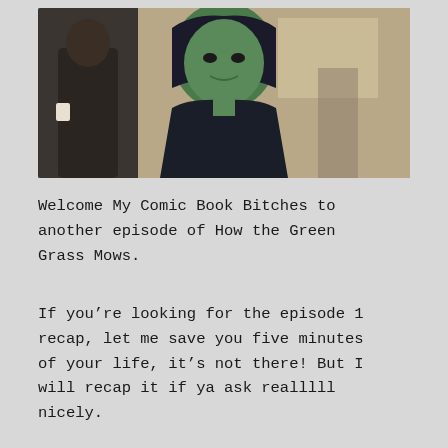[Figure (photo): Screenshot from a TV show or film showing a green-skinned female character (She-Hulk) in a dark outfit, with a man in the background in what appears to be an office setting.]
Welcome My Comic Book Bitches to another episode of How the Green Grass Mows.
If you’re looking for the episode 1 recap, let me save you five minutes of your life, it’s not there! But I will recap it if ya ask realllll nicely.